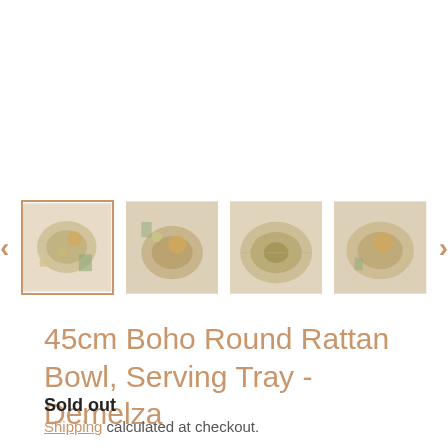[Figure (photo): Thumbnail carousel of a boho round rattan bowl/serving tray product, showing 4 thumbnail images with left and right navigation arrows. First thumbnail is selected/highlighted with a border.]
45cm Boho Round Rattan Bowl, Serving Tray - Demelza
Sold out
Shipping calculated at checkout.